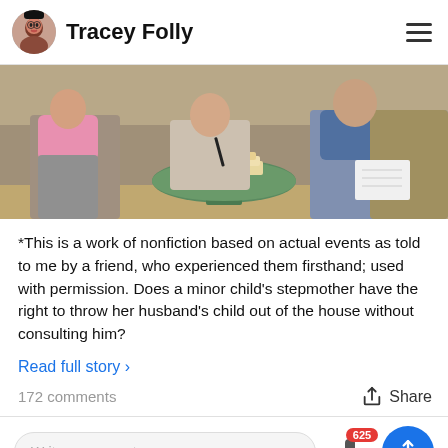Tracey Folly
[Figure (photo): Photo of people sitting in a room with a green round table holding books; appears to be a counseling or discussion setting.]
*This is a work of nonfiction based on actual events as told to me by a friend, who experienced them firsthand; used with permission. Does a minor child's stepmother have the right to throw her husband's child out of the house without consulting him?
Read full story >
172 comments
Share
Write a comment...
625